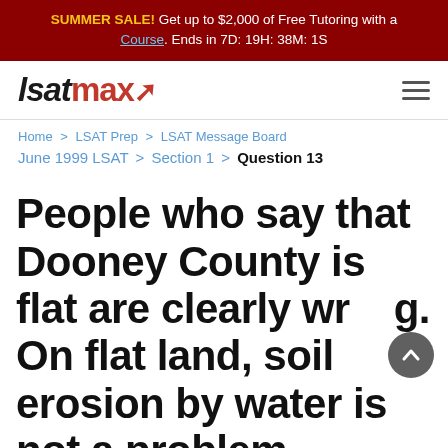SUMMER SALE! Get up to $2,000 of Free Tutoring with a Course. Ends in 7D: 19H: 38M: 1S
[Figure (logo): lsatmax logo with hamburger menu icon]
Home > LSAT Prep > LSAT Message Board
June 1999 LSAT > Section 1 > Question 13
People who say that Dooney County is flat are clearly wrong. On flat land, soil erosion by water is not a problem. ...